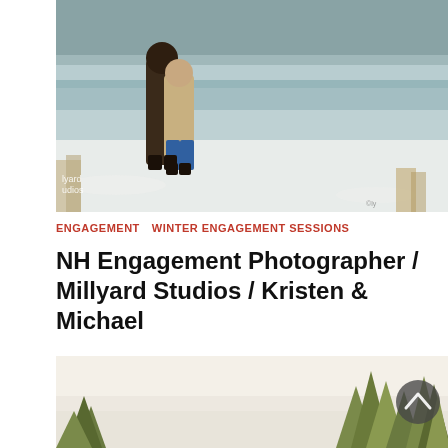[Figure (photo): Couple embracing in a snowy winter outdoor setting near a frozen lake or pond, with snow-covered trees in the background. Watermark text 'lyard udios' visible at bottom left.]
ENGAGEMENT  WINTER ENGAGEMENT SESSIONS
NH Engagement Photographer / Millyard Studios / Kristen & Michael
[Figure (photo): Outdoor winter landscape photo showing a wide open snowy field with evergreen trees in the background, partially cropped at top and bottom. A scroll-to-top button (chevron up icon) is visible at the right side.]